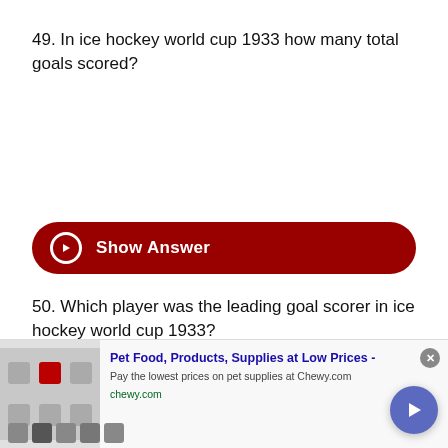49. In ice hockey world cup 1933 how many total goals scored?
[Figure (other): Dark red rounded button labeled 'Show Answer' with arrow circle icon]
50. Which player was the leading goal scorer in ice hockey world cup 1933?
[Figure (other): Dark red rounded button labeled 'Show Answer' with arrow circle icon]
51. Which place is known as the birthplace of organized ice hockey?
[Figure (other): Advertisement banner: Pet Food, Products, Supplies at Low Prices - chewy.com]